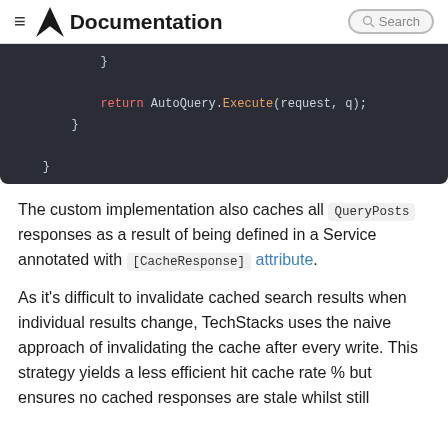Documentation
[Figure (screenshot): Dark-themed code block showing closing braces and a return statement: return AutoQuery.Execute(request, q);]
The custom implementation also caches all QueryPosts responses as a result of being defined in a Service annotated with [CacheResponse] attribute.
As it's difficult to invalidate cached search results when individual results change, TechStacks uses the naive approach of invalidating the cache after every write. This strategy yields a less efficient hit cache rate % but ensures no cached responses are stale whilst still